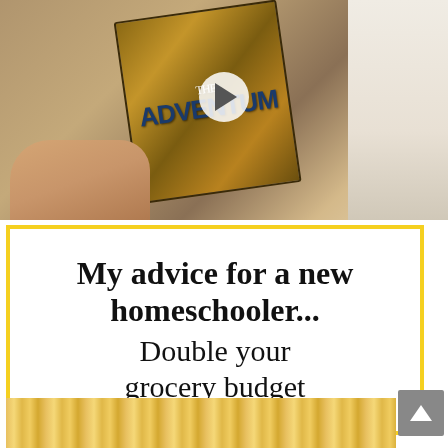[Figure (photo): A hand holding a board game box titled 'The Adventium' with illustrated wildlife scenes on the cover. A white play button circle overlay is visible in the center of the image.]
My advice for a new homeschooler... Double your grocery budget
[Figure (photo): Bottom strip showing colorful book spines or similar colorful material.]